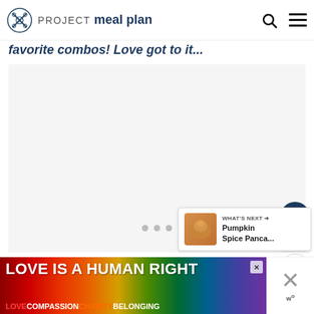PROJECT meal plan
favorite combos! Love got to it...
[Figure (photo): Large blank/loading image area with three gray loading dots in the center]
[Figure (other): Heart/save button (dark blue circle with white heart icon) with count of 103, and share button below]
WHAT'S NEXT → Pumpkin Spice Panca...
[Figure (photo): Thumbnail image of pumpkin spice pancakes]
[Figure (infographic): Ad banner: LOVE IS A HUMAN RIGHT with rainbow gradient background. Sub-text: LOVE COMPASSION CHARITY BELONGING. Close button and W logo on right side.]